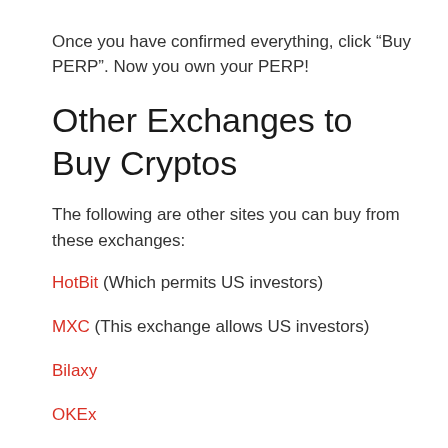Once you have confirmed everything, click “Buy PERP”. Now you own your PERP!
Other Exchanges to Buy Cryptos
The following are other sites you can buy from these exchanges:
HotBit (Which permits US investors)
MXC (This exchange allows US investors)
Bilaxy
OKEx